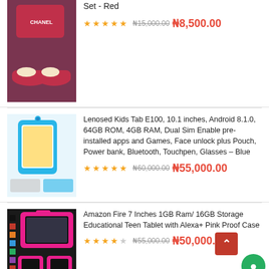[Figure (photo): Chanel shoe set in red with matching bag, displayed on dark background]
Set - Red
★★★★★ ₦15,000.00 ₦8,500.00
[Figure (photo): Lenosed Kids Tab E100 in blue case with accessories]
Lenosed Kids Tab E100, 10.1 inches, Android 8.1.0, 64GB ROM, 4GB RAM, Dual Sim Enable pre-installed apps and Games, Face unlock plus Pouch, Power bank, Bluetooth, Touchpen, Glasses – Blue
★★★★★ ₦60,000.00 ₦55,000.00
[Figure (photo): Amazon Fire 7 Inch tablet in pink protective case]
Amazon Fire 7 Inches 1GB Ram/ 16GB Storage Educational Teen Tablet with Alexa+ Pink Proof Case
★★★★☆ ₦55,000.00 ₦50,000.00